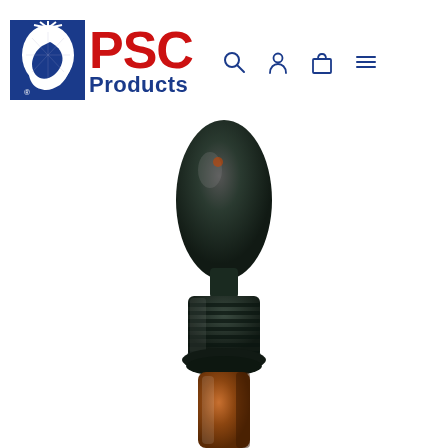[Figure (logo): PSC Products logo with blue Native American head profile icon on left, red 'PSC' text and blue 'Products' text on right]
[Figure (other): Navigation bar icons: magnifying glass (search), person (account), shopping bag (cart), and hamburger menu — all in blue outline style]
[Figure (photo): Close-up photo of a black dropper cap on an amber glass bottle against a white background. The dropper bulb is rounded and black, with a ribbed black collar screwed onto the top of the amber bottle visible at the bottom of the image.]